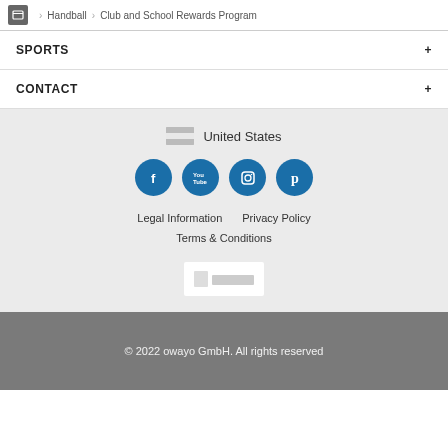Handball / Club and School Rewards Program
SPORTS
CONTACT
[Figure (other): Country selector showing United States flag and label]
[Figure (other): Social media icons: Facebook, YouTube, Instagram, Pinterest]
Legal Information   Privacy Policy
Terms & Conditions
[Figure (logo): owayo logo in white box]
© 2022 owayo GmbH. All rights reserved